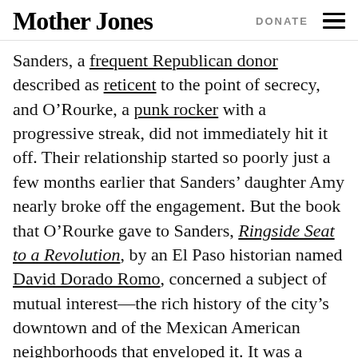Mother Jones | DONATE
Sanders, a frequent Republican donor described as reticent to the point of secrecy, and O’Rourke, a punk rocker with a progressive streak, did not immediately hit it off. Their relationship started so poorly just a few months earlier that Sanders’ daughter Amy nearly broke off the engagement. But the book that O’Rourke gave to Sanders, Ringside Seat to a Revolution, by an El Paso historian named David Dorado Romo, concerned a subject of mutual interest—the rich history of the city’s downtown and of the Mexican American neighborhoods that enveloped it. It was a paean to the city’s status as the estuarial zone of the continent, where two worlds overlap. In the days after the wedding, O’Rourke